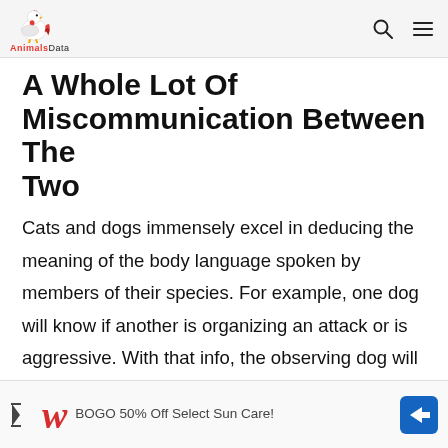AnimalsData
A Whole Lot Of Miscommunication Between The Two
Cats and dogs immensely excel in deducing the meaning of the body language spoken by members of their species. For example, one dog will know if another is organizing an attack or is aggressive. With that info, the observing dog will avoid getting too close. This same thing happens to cats.
[Figure (other): Walgreens advertisement banner: BOGO 50% Off Select Sun Care!]